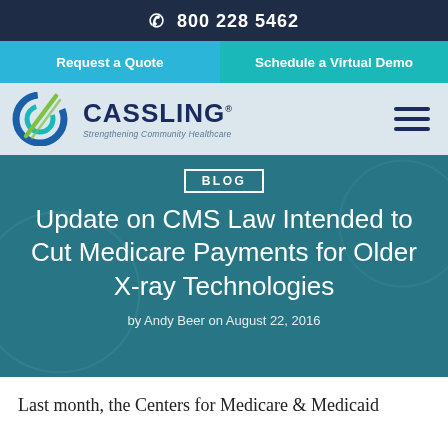800 228 5462
Request a Quote
Schedule a Virtual Demo
[Figure (logo): Cassling logo with circular C design and tagline 'Strengthening Community Healthcare']
BLOG
Update on CMS Law Intended to Cut Medicare Payments for Older X-ray Technologies
by Andy Beer on August 22, 2016
Last month, the Centers for Medicare & Medicaid